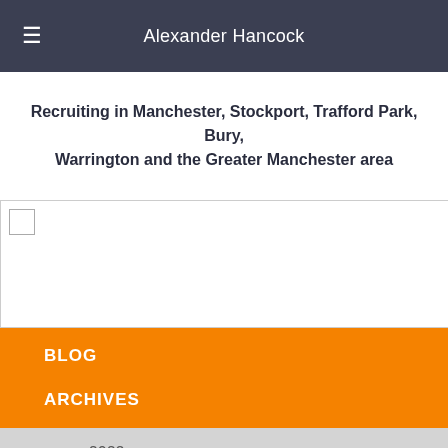Alexander Hancock
Recruiting in Manchester, Stockport, Trafford Park, Bury, Warrington and the Greater Manchester area
[Figure (other): Image placeholder with a small checkbox/image icon in the top-left corner]
BLOG
ARCHIVES
▶ 2022